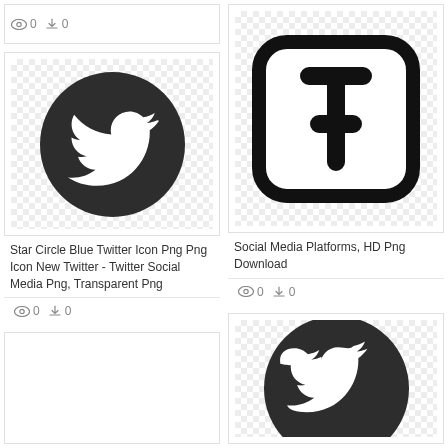[Figure (logo): Partial top card showing view and download stats: 0 and 0]
[Figure (logo): Twitter bird icon in dark circle on transparent/checker background]
Star Circle Blue Twitter Icon Png Png Icon New Twitter - Twitter Social Media Png, Transparent Png
0  0
[Figure (logo): Partial bottom left card, empty]
[Figure (logo): Twitter 't' letter logo in rounded square, black outline on white]
Social Media Platforms, HD Png Download
0  0
[Figure (logo): Twitter bird icon in dark circle on transparent/checker background, partial]